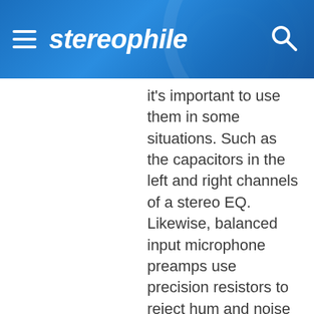stereophile
it's important to use them in some situations. Such as the capacitors in the left and right channels of a stereo EQ. Likewise, balanced input microphone preamps use precision resistors to reject hum and noise better. And so forth. Even 30 years ago